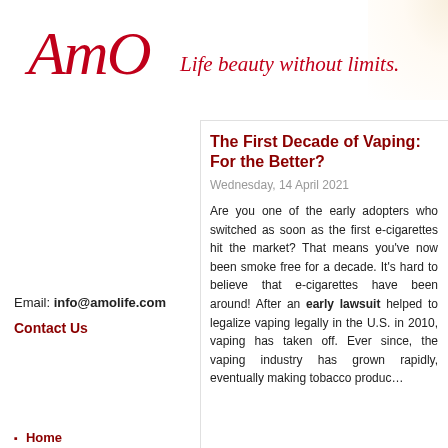AmO Life beauty without limits.
Email: info@amolife.com
Contact Us
Home
Life Hacks
Inspiration
Love Is All Around
The First Decade of Vaping: For the Better?
Wednesday, 14 April 2021
Are you one of the early adopters who switched as soon as the first e-cigarettes hit the market? That means you've now been smoke free for a decade. It's hard to believe that e-cigarettes have been around! After an early lawsuit helped to legalize vaping legally in the U.S. in 2010, vaping has taken off. Ever since, the vaping industry has grown rapidly, eventually making tobacco products...